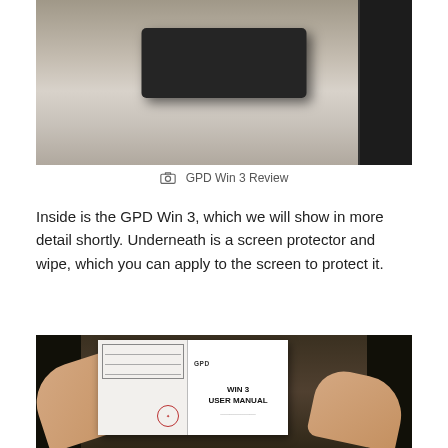[Figure (photo): Photo of a black rectangular box on a wooden surface, with another box visible at the right edge]
GPD Win 3 Review
Inside is the GPD Win 3, which we will show in more detail shortly. Underneath is a screen protector and wipe, which you can apply to the screen to protect it.
[Figure (photo): Photo of hands holding an open booklet showing the GPD WIN 3 USER MANUAL]